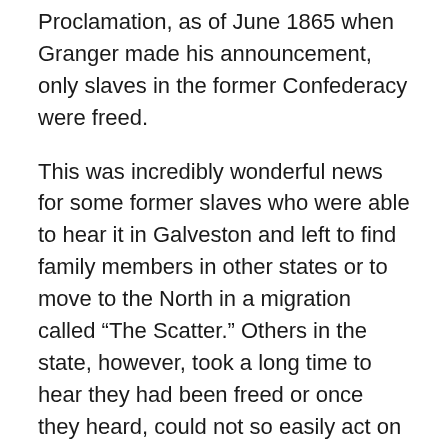Proclamation, as of June 1865 when Granger made his announcement, only slaves in the former Confederacy were freed.
This was incredibly wonderful news for some former slaves who were able to hear it in Galveston and left to find family members in other states or to move to the North in a migration called “The Scatter.” Others in the state, however, took a long time to hear they had been freed or once they heard, could not so easily act on or with that new freedom.
Texas was one of the last outposts of slavery and the Confederacy. Union forces were repelled in one of the last fights of the Civil War in the Battle of Galveston, which actually ended two months after Lee had surrendered the previous April. As the South fell at the end of the war, some of the most brutal enslavers had a format to dilic